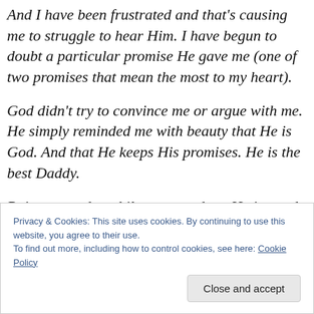And I have been frustrated and that's causing me to struggle to hear Him. I have begun to doubt a particular promise He gave me (one of two promises that mean the most to my heart).
God didn't try to convince me or argue with me. He simply reminded me with beauty that He is God. And that He keeps His promises. He is the best Daddy.
Point to ponder while you wander…He is good. All day. Every day. He is always speaking and encouraging us. We
Privacy & Cookies: This site uses cookies. By continuing to use this website, you agree to their use.
To find out more, including how to control cookies, see here: Cookie Policy